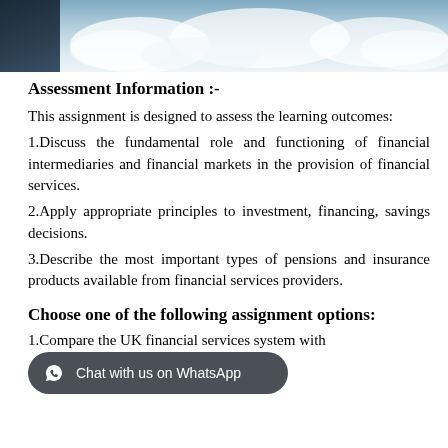[Figure (photo): Photo strip at top showing sky/clouds with a dark figure on the left side]
Assessment Information :-
This assignment is designed to assess the learning outcomes:
1.Discuss the fundamental role and functioning of financial intermediaries and financial markets in the provision of financial services.
2.Apply appropriate principles to investment, financing, savings decisions.
3.Describe the most important types of pensions and insurance products available from financial services providers.
Choose one of the following assignment options:
1.Compare the UK financial services system with